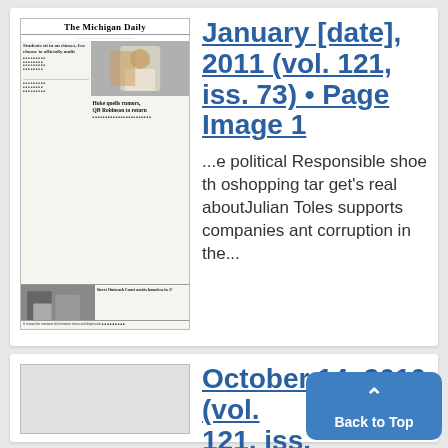[Figure (screenshot): Thumbnail of The Michigan Daily newspaper front page showing headline 'Hoke quells rumors, QB Robinson to return' and a photo of a player, plus lower section with 'Street Outreach Court assists homeless in A2' and another story.]
January [date], 2011 (vol. 121, iss. 73) • Page Image 1
...e political Responsible shoe th oshopping tar get's real aboutJulian Toles supports companies ant corruption in the...
October 14, 2010 (vol. 121, iss. [?]) • Page Image [1]